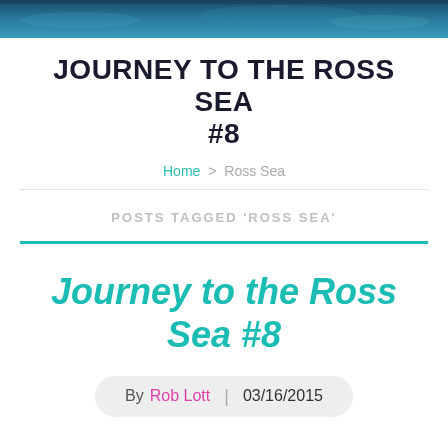[Figure (photo): Dark blue ocean/water photo used as decorative header banner]
JOURNEY TO THE ROSS SEA #8
Home > Ross Sea
POSTS TAGGED 'ROSS SEA'
Journey to the Ross Sea #8
By Rob Lott | 03/16/2015